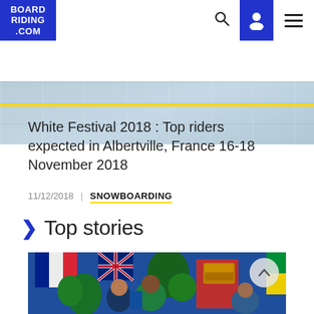BOARDRIDING.COM
[Figure (photo): Partial view of a snowboarding event banner/crowd scene, cropped at top of page]
White Festival 2018 : Top riders expected in Albertville, France 16-18 November 2018
11/12/2018  |  SNOWBOARDING
Top stories
[Figure (photo): Athletes celebrating at a competition, holding trophies/awards, with international flags in background. A scroll-up button is visible in the top-right corner.]